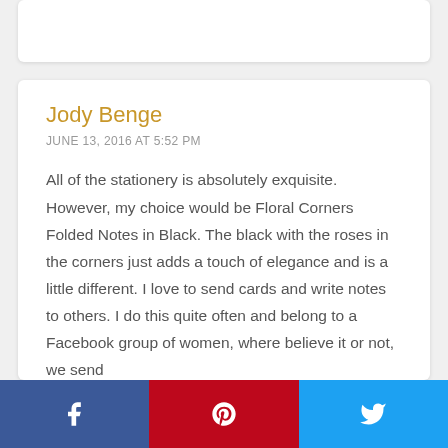Jody Benge
JUNE 13, 2016 AT 5:52 PM
All of the stationery is absolutely exquisite. However, my choice would be Floral Corners Folded Notes in Black. The black with the roses in the corners just adds a touch of elegance and is a little different. I love to send cards and write notes to others. I do this quite often and belong to a Facebook group of women, where believe it or not, we send